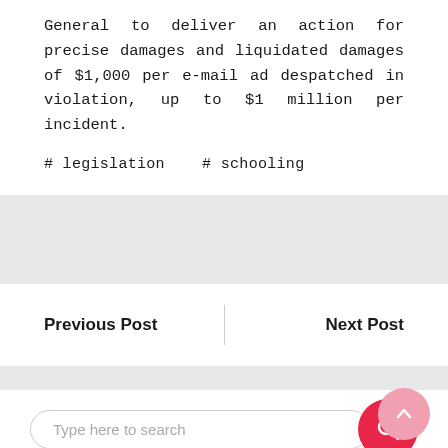General to deliver an action for precise damages and liquidated damages of $1,000 per e-mail ad despatched in violation, up to $1 million per incident.
# legislation   # schooling
Previous Post
Next Post
[Figure (other): Search bar with placeholder text 'Type here to search' and a red rounded search button with a magnifying glass icon]
Recent Posts